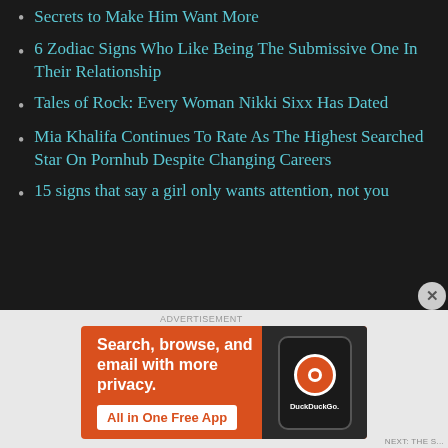Secrets to Make Him Want More
6 Zodiac Signs Who Like Being The Submissive One In Their Relationship
Tales of Rock: Every Woman Nikki Sixx Has Dated
Mia Khalifa Continues To Rate As The Highest Searched Star On Pornhub Despite Changing Careers
15 signs that say a girl only wants attention, not you
[Figure (screenshot): DuckDuckGo advertisement banner: orange background with text 'Search, browse, and email with more privacy. All in One Free App' and a phone graphic showing DuckDuckGo logo]